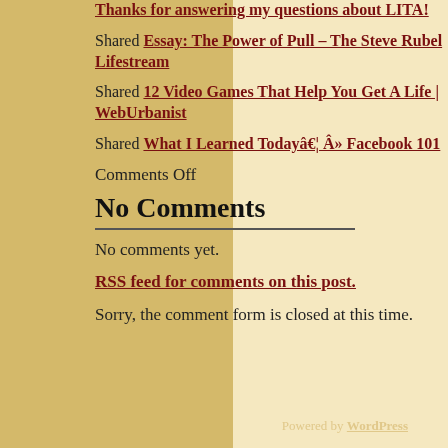Thanks for answering my questions about LITA!
Shared Essay: The Power of Pull – The Steve Rubel Lifestream
Shared 12 Video Games That Help You Get A Life | WebUrbanist
Shared What I Learned Todayâ€¦ Â» Facebook 101
Comments Off
No Comments
No comments yet.
RSS feed for comments on this post.
Sorry, the comment form is closed at this time.
Powered by WordPress